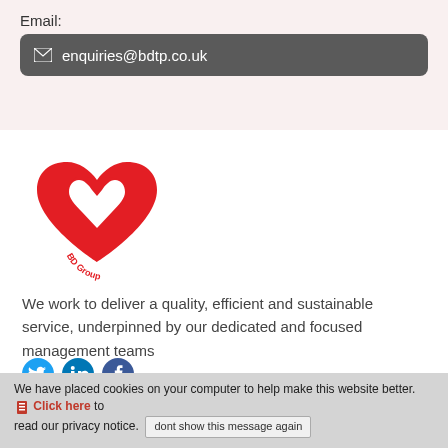Email:
enquiries@bdtp.co.uk
[Figure (logo): BD Group heart-shaped logo in red with 'BD Group' text]
We work to deliver a quality, efficient and sustainable service, underpinned by our dedicated and focused management teams
[Figure (infographic): Social media icons: Twitter, LinkedIn, Facebook]
About BD
We have placed cookies on your computer to help make this website better. Click here to read our privacy notice. dont show this message again